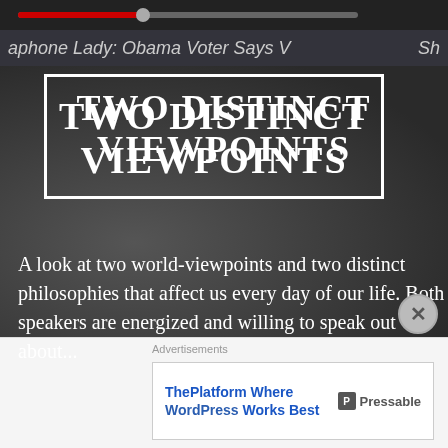[Figure (screenshot): Screenshot of a video player showing a paused video with a dark/blurry face background. A progress bar is visible at the top. The video title bar reads 'aphone Lady: Obama Voter Says' with 'Sh' partially visible on the right.]
TWO DISTINCT VIEWPOINTS
A look at two world-viewpoints and two distinct philosophies that affect us every day of our life. Both speakers are energized and willing to speak out about...
Advertisements
ThePlatform Where WordPress Works Best   P Pressable